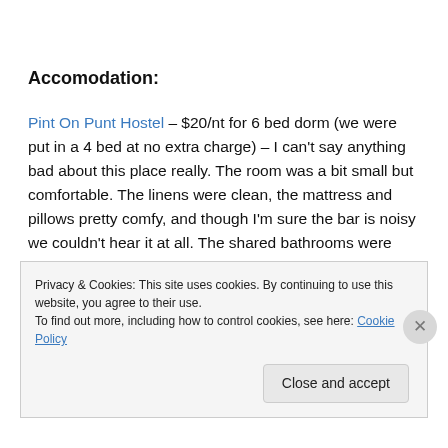Accomodation:
Pint On Punt Hostel – $20/nt for 6 bed dorm (we were put in a 4 bed at no extra charge) – I can't say anything bad about this place really. The room was a bit small but comfortable. The linens were clean, the mattress and pillows pretty comfy, and though I'm sure the bar is noisy we couldn't hear it at all. The shared bathrooms were clean and we had our own sink in the room. The location
Privacy & Cookies: This site uses cookies. By continuing to use this website, you agree to their use.
To find out more, including how to control cookies, see here: Cookie Policy